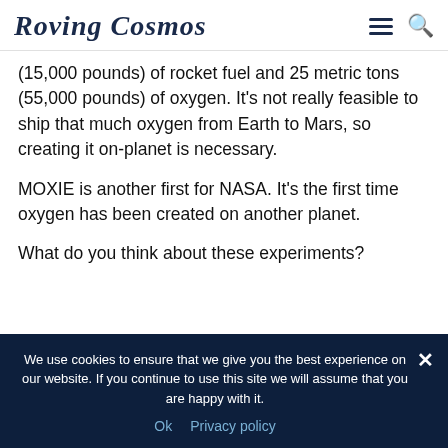Roving Cosmos
(15,000 pounds) of rocket fuel and 25 metric tons (55,000 pounds) of oxygen. It's not really feasible to ship that much oxygen from Earth to Mars, so creating it on-planet is necessary.
MOXIE is another first for NASA. It's the first time oxygen has been created on another planet.
What do you think about these experiments?
We use cookies to ensure that we give you the best experience on our website. If you continue to use this site we will assume that you are happy with it.
Ok   Privacy policy